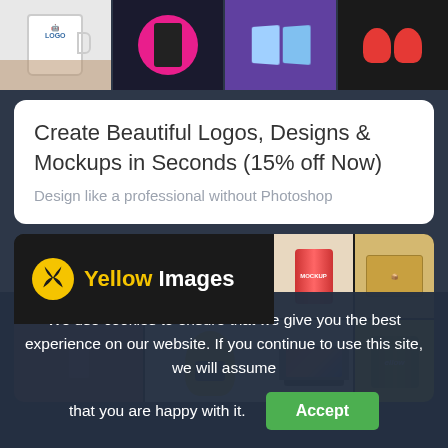[Figure (photo): Top banner showing four product mockup photos: a mug, a pink circle design on dark background, product packaging boxes, and boxing gloves]
Create Beautiful Logos, Designs & Mockups in Seconds (15% off Now)
Design like a professional without Photoshop
[Figure (logo): Yellow Images branded product mockup showcase banner with logo showing yellow swirl icon, 'Yellow' in yellow text and 'Images' in white text on dark background, with product mockup photos in a grid]
We use cookies to ensure that we give you the best experience on our website. If you continue to use this site, we will assume that you are happy with it.